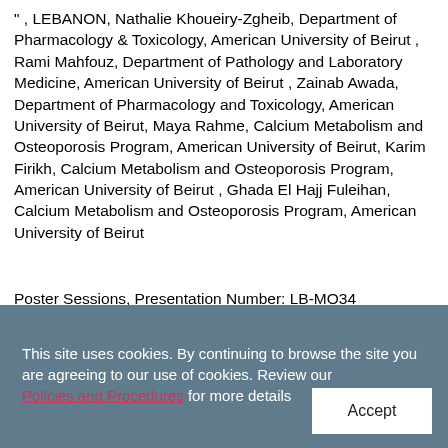“ , LEBANON, Nathalie Khoueiry-Zgheib, Department of Pharmacology & Toxicology, American University of Beirut , Rami Mahfouz, Department of Pathology and Laboratory Medicine, American University of Beirut , Zainab Awada, Department of Pharmacology and Toxicology, American University of Beirut, Maya Rahme, Calcium Metabolism and Osteoporosis Program, American University of Beirut, Karim Firikh, Calcium Metabolism and Osteoporosis Program, American University of Beirut , Ghada El Hajj Fuleihan, Calcium Metabolism and Osteoporosis Program, American University of Beirut
Poster Sessions, Presentation Number: LB-MO34
This site uses cookies. By continuing to browse the site you are agreeing to our use of cookies. Review our Policies and Procedures for more details